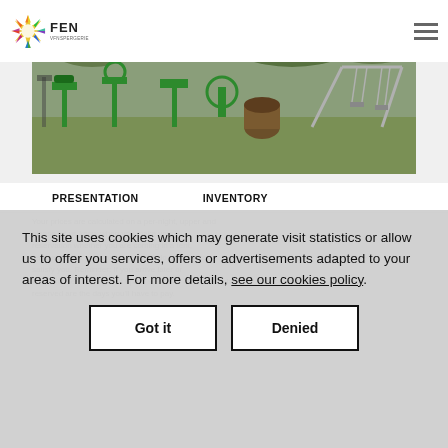FEN - website header with logo and hamburger menu
[Figure (photo): Outdoor playground and fitness equipment area with green exercise machines and swings, surrounded by trees]
PRESENTATION    INVENTORY
Your prices are calculated on a per-night, upper and please let us know when you make your reservation whether you are coming in a tent, camper-van or caravan and we will do our best to satisfy you. Reminder: If you arrive later or leave sooner then agreed upon, we have the right to ask for compensation. The only nights reserved are the days you'll have to pay.
This site uses cookies which may generate visit statistics or allow us to offer you services, offers or advertisements adapted to your areas of interest. For more details, see our cookies policy.
Got it    Denied